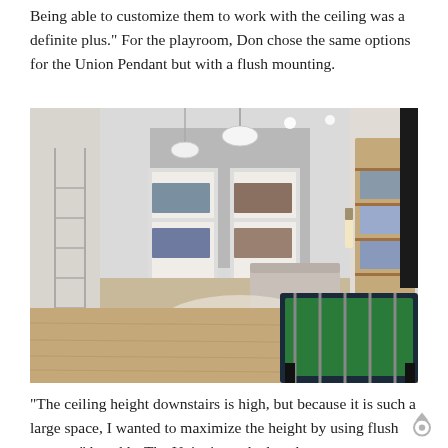Being able to customize them to work with the ceiling was a definite plus." For the playroom, Don chose the same options for the Union Pendant but with a flush mounting.
[Figure (photo): Interior photo of a modern playroom/basement with bunk beds on the left, a foosball table in the foreground, a seating area with poufs and a sofa in the middle, and a shelving unit on the right. White pendant lights hang from the ceiling. The floor is a light wood laminate.]
“The ceiling height downstairs is high, but because it is such a large space, I wanted to maximize the height by using flush mounts,” he adds. The Union’s stacked neck